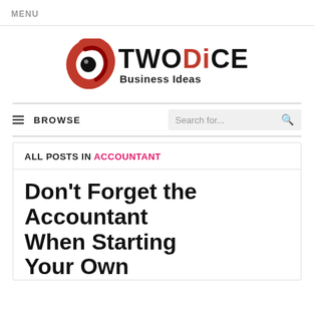MENU
[Figure (logo): TWODiCE Business Ideas logo with a red swirl/circle icon and bold text]
BROWSE  Search for...
ALL POSTS IN ACCOUNTANT
Don't Forget the Accountant When Starting Your Own